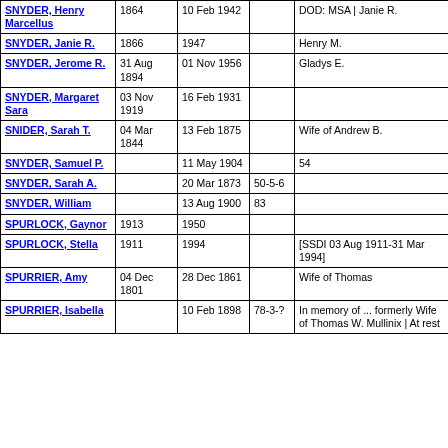| Name | Birth | Death | Plot | Notes |
| --- | --- | --- | --- | --- |
| SNYDER, Henry Marcellus | 1864 | 10 Feb 1942 |  | DOD: MSA | Janie R. |
| SNYDER, Janie R. | 1866 | 1947 |  | Henry M. |
| SNYDER, Jerome R. | 31 Aug 1894 | 01 Nov 1956 |  | Gladys E. |
| SNYDER, Margaret Sara | 03 Nov 1919 | 16 Feb 1931 |  |  |
| SNIDER, Sarah T. | 04 Mar 1844 | 13 Feb 1875 |  | Wife of Andrew B. |
| SNYDER, Samuel P. |  | 11 May 1904 |  | 54 |
| SNYDER, Sarah A. |  | 20 Mar 1873 | 50-5-6 |  |
| SNYDER, William |  | 13 Aug 1900 | 83 |  |
| SPURLOCK, Gaynor | 1913 | 1950 |  |  |
| SPURLOCK, Stella | 1911 | 1994 |  | [SSDI 03 Aug 1911-31 Mar 1994] |
| SPURRIER, Amy | 04 Dec 1801 | 28 Dec 1861 |  | Wife of Thomas |
| SPURRIER, Isabella |  | 10 Feb 1898 | 78-3-? | In memory of ... formerly Wife of Thomas W. Mullinix | At rest |